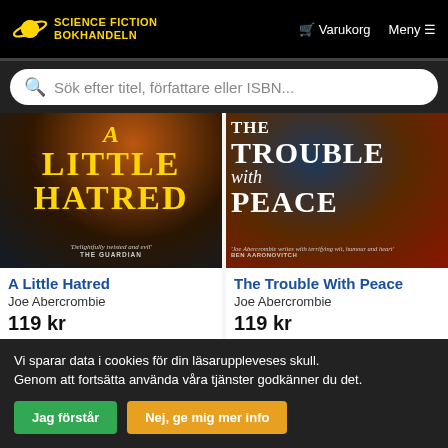Science Fiction Bokhandeln — Varukorg   Meny
Sök efter titel, författare eller ISBN...
[Figure (photo): Book cover for 'A Little Hatred' by Joe Abercrombie — dark orange/brown background with bold yellow title text]
A Little Hatred
Joe Abercrombie
119 kr
Läs mer
[Figure (photo): Book cover for 'The Trouble With Peace' by Joe Abercrombie — dark blue and red background with bold white title text and blurb]
The Trouble With Peace
Joe Abercrombie
119 kr
Läs mer
Vi sparar data i cookies för din läsaruppleveses skull.
Genom att fortsätta använda våra tjänster godkänner du det.
Jag förstår
Nej, ge mig mer info